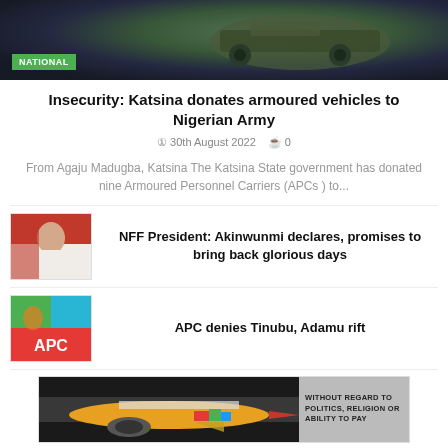[Figure (photo): Top banner photo of armoured military vehicle with greenish camouflage background, with NATIONAL badge overlay]
Insecurity: Katsina donates armoured vehicles to Nigerian Army
30th August 2022   0
From Agaju Madugba, Katsina The Katsina State government has donated nine Armoured Personnel Carriers (APCs ) to...
[Figure (photo): Thumbnail photo of man in red and white clothing]
NFF President: Akinwunmi declares, promises to bring back glorious days
[Figure (logo): APC party logo with green, blue and red sections and APC text]
APC denies Tinubu, Adamu rift
[Figure (photo): Advertisement banner showing cargo aircraft being loaded, with text WITHOUT REGARD TO POLITICS, RELIGION OR ABILITY TO PAY]